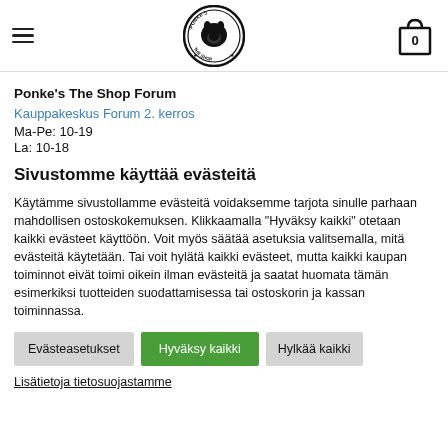Ponke's The Shop — header with hamburger menu, logo, and cart icon showing 0
Ponke's The Shop Forum
Kauppakeskus Forum 2. kerros
Ma-Pe: 10-19
La: 10-18
Sivustomme käyttää evästeitä
Käytämme sivustollamme evästeitä voidaksemme tarjota sinulle parhaan mahdollisen ostoskokemuksen. Klikkaamalla "Hyväksy kaikki" otetaan kaikki evästeet käyttöön. Voit myös säätää asetuksia valitsemalla, mitä evästeitä käytetään. Tai voit hylätä kaikki evästeet, mutta kaikki kaupan toiminnot eivät toimi oikein ilman evästeitä ja saatat huomata tämän esimerkiksi tuotteiden suodattamisessa tai ostoskorin ja kassan toiminnassa.
Evästeasetukset
Hyväksy kaikki
Hylkää kaikki
Lisätietoja tietosuojastamme